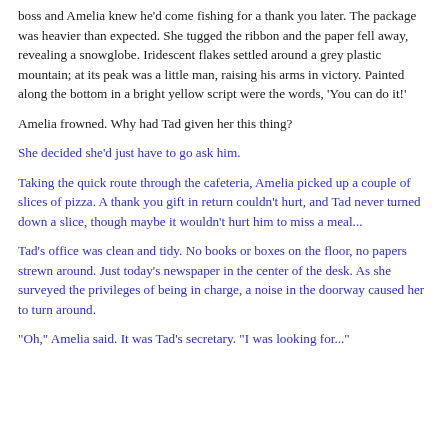boss and Amelia knew he'd come fishing for a thank you later. The package was heavier than expected. She tugged the ribbon and the paper fell away, revealing a snowglobe. Iridescent flakes settled around a grey plastic mountain; at its peak was a little man, raising his arms in victory. Painted along the bottom in a bright yellow script were the words, 'You can do it!'
Amelia frowned. Why had Tad given her this thing?
She decided she'd just have to go ask him.
Taking the quick route through the cafeteria, Amelia picked up a couple of slices of pizza. A thank you gift in return couldn't hurt, and Tad never turned down a slice, though maybe it wouldn't hurt him to miss a meal...
Tad's office was clean and tidy. No books or boxes on the floor, no papers strewn around. Just today's newspaper in the center of the desk. As she surveyed the privileges of being in charge, a noise in the doorway caused her to turn around.
"Oh," Amelia said. It was Tad's secretary. "I was looking for..."